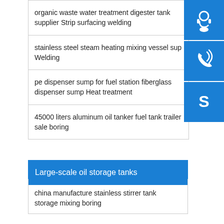organic waste water treatment digester tank supplier Strip surfacing welding
stainless steel steam heating mixing vessel sup Welding
pe dispenser sump for fuel station fiberglass dispenser sump Heat treatment
45000 liters aluminum oil tanker fuel tank trailer sale boring
[Figure (infographic): Blue sidebar with three icons: headset/customer service icon, phone with signal waves icon, Skype logo icon]
Large-scale oil storage tanks
china manufacture stainless stirrer tank storage mixing boring